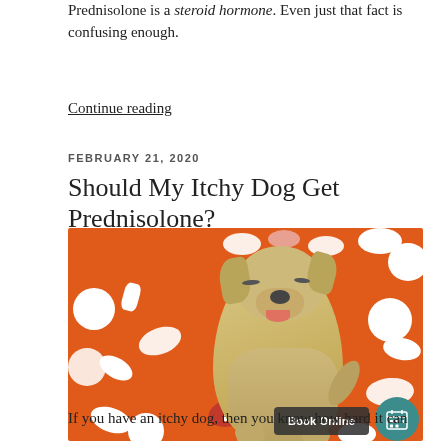Prednisolone is a steroid hormone. Even just that fact is confusing enough.
Continue reading
FEBRUARY 21, 2020
Should My Itchy Dog Get Prednisolone?
[Figure (photo): A yellow Labrador dog surrounded by white and red pills floating on an orange background, with a 'Book Online' button overlay and a teal calendar icon button]
If you have an itchy dog, then you know how hard it can be. What would happen then if someone told that some of